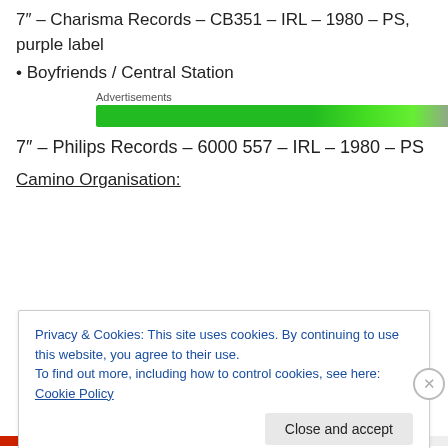7" – Charisma Records – CB351 – IRL – 1980 – PS, purple label
• Boyfriends / Central Station
[Figure (other): Green advertisement bar with label 'Advertisements']
7" – Philips Records – 6000 557 – IRL – 1980 – PS
Camino Organisation:
Privacy & Cookies: This site uses cookies. By continuing to use this website, you agree to their use.
To find out more, including how to control cookies, see here: Cookie Policy